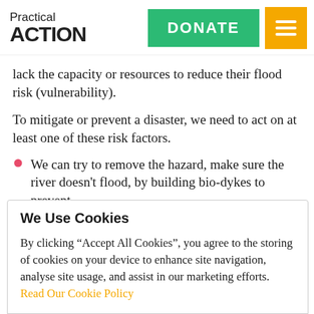Practical ACTION | DONATE | [menu]
lack the capacity or resources to reduce their flood risk (vulnerability).
To mitigate or prevent a disaster, we need to act on at least one of these risk factors.
We can try to remove the hazard, make sure the river doesn't flood, by building bio-dykes to prevent
We Use Cookies
By clicking “Accept All Cookies”, you agree to the storing of cookies on your device to enhance site navigation, analyse site usage, and assist in our marketing efforts. Read Our Cookie Policy